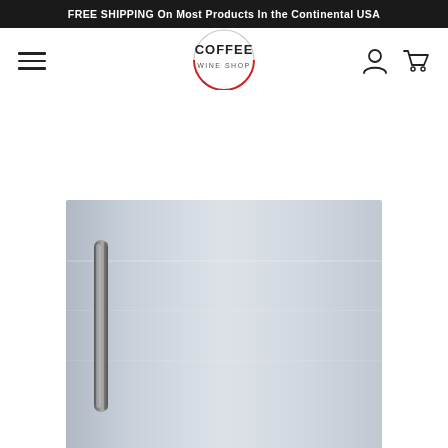FREE SHIPPING On Most Products In the Continental USA
[Figure (logo): Coffee Wine Shop logo - circular design with red arc at bottom, text COFFEE WINE SHOP]
[Figure (photo): Stainless steel refrigerator door with vertical bar handle on the left side, showing product image cropped at bottom]